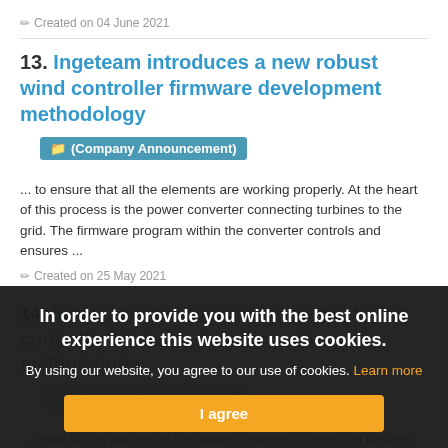Created on 04 June 2021
13. Ingeteam introduces a new robust wind controller firmware development methodology
(Company Announcement)
... to ensure that all the elements are working properly. At the heart of this process is the power converter connecting turbines to the grid. The firmware program within the converter controls and ensures ...
Created on 25 May 2021
14. Ingeteam introduces a new robust wind controller firmware development methodology
(Company Announcement)
... heart of this process is the power converter connecting turbines to the grid. The firmware program within the converter controls and ensures ...
In order to provide you with the best online experience this website uses cookies. By using our website, you agree to our use of cookies. Learn more. I agree